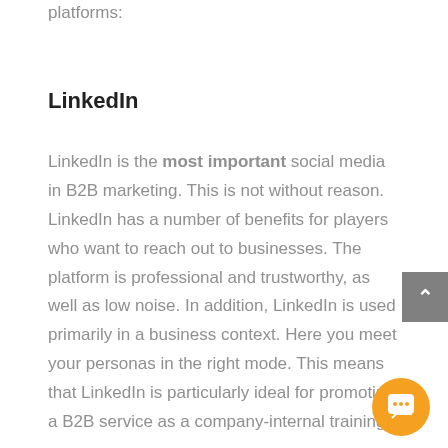platforms:
LinkedIn
LinkedIn is the most important social media in B2B marketing. This is not without reason. LinkedIn has a number of benefits for players who want to reach out to businesses. The platform is professional and trustworthy, as well as low noise. In addition, LinkedIn is used primarily in a business context. Here you meet your personas in the right mode. This means that LinkedIn is particularly ideal for promoting a B2B service as a company-internal training.